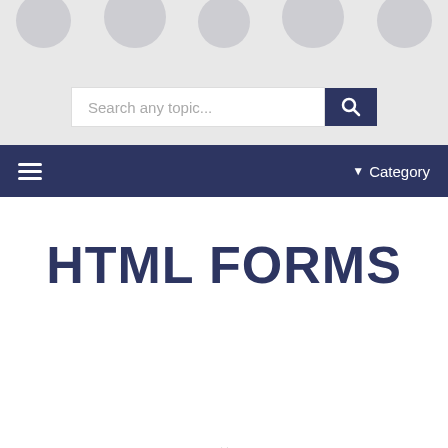[Figure (screenshot): Website header with circular avatar icons and a search bar with input field and search button]
Search any topic...
≡   ▼ Category
HTML FORMS